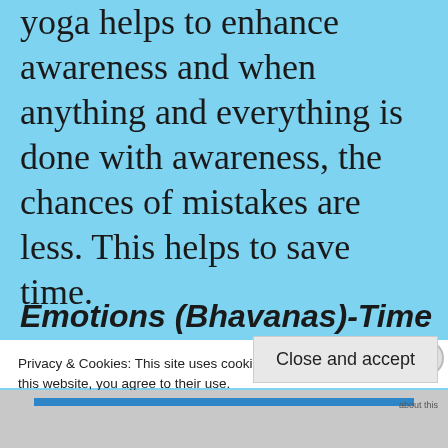yoga helps to enhance awareness and when anything and everything is done with awareness, the chances of mistakes are less. This helps to save time.
Emotions (Bhavanas)-Time
Privacy & Cookies: This site uses cookies. By continuing to use this website, you agree to their use.
To find out more, including how to control cookies, see here: Cookie Policy